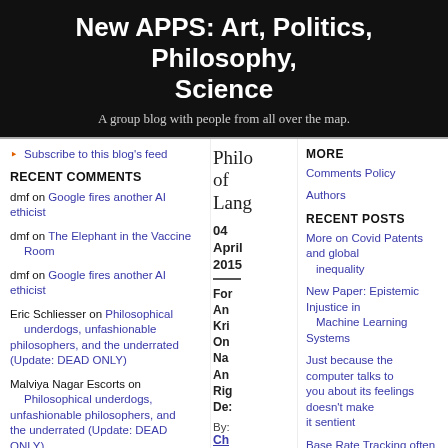New APPS: Art, Politics, Philosophy, Science
A group blog with people from all over the map.
Subscribe to this blog's feed
RECENT COMMENTS
dmf on Google fires another AI ethicist
dmf on The Elephant in the Vaccine Room
dmf on Google fires another AI ethicist
Eric Schliesser on Philosophical underdogs, unfashionable philosophers, and the underrated (Update: DEAD ONLY)
Malviya Nagar Escorts on Philosophical underdogs, unfashionable philosophers, and the underrated (Update: DEAD ONLY)
khan on Philosophy in the age of
Philo of Lang
04 April 2015
For An Kri On Na An Rig De:
By:
Ch
MORE
Comments Policy
Authors
RECENT POSTS
More on Covid Patents and global inequality
New Paper: Epistemic Injustice in Machine Learning Systems
Just because the computer talks to you about its feelings doesn't make it sentient
Base Rate Tracking often can't fix algorithmic fairness
Clearview settles Facial Recognition Case